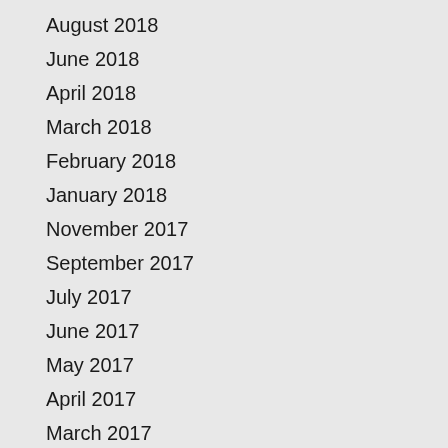August 2018
June 2018
April 2018
March 2018
February 2018
January 2018
November 2017
September 2017
July 2017
June 2017
May 2017
April 2017
March 2017
February 2017
January 2017
December 2016
November 2016
October 2016
September 2016